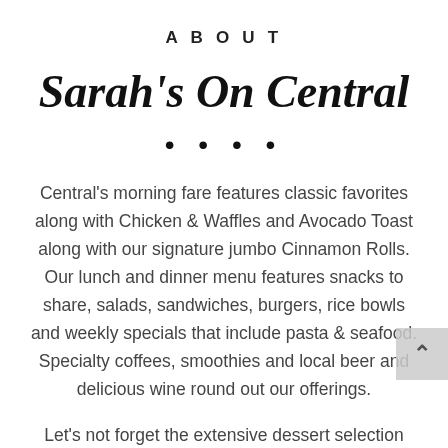ABOUT
Sarah's On Central
Central's morning fare features classic favorites along with Chicken & Waffles and Avocado Toast along with our signature jumbo Cinnamon Rolls. Our lunch and dinner menu features snacks to share, salads, sandwiches, burgers, rice bowls and weekly specials that include pasta & seafood. Specialty coffees, smoothies and local beer and delicious wine round out our offerings.
Let's not forget the extensive dessert selection